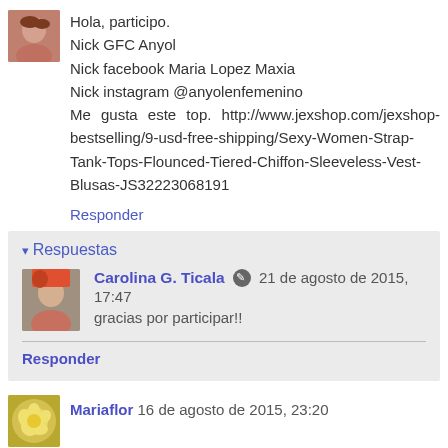[Figure (photo): Small avatar photo of a woman with reddish-brown hair]
Hola, participo.
Nick GFC Anyol
Nick facebook Maria Lopez Maxia
Nick instagram @anyolenfemenino
Me gusta este top. http://www.jexshop.com/jexshop-bestselling/9-usd-free-shipping/Sexy-Women-Strap-Tank-Tops-Flounced-Tiered-Chiffon-Sleeveless-Vest-Blusas-JS32223068191
Responder
Respuestas
[Figure (photo): Small avatar photo of a woman with colorful clothing]
Carolina G. Ticala 21 de agosto de 2015, 17:47
gracias por participar!!
Responder
[Figure (photo): Small avatar photo with a flower]
Mariaflor 16 de agosto de 2015, 23:20